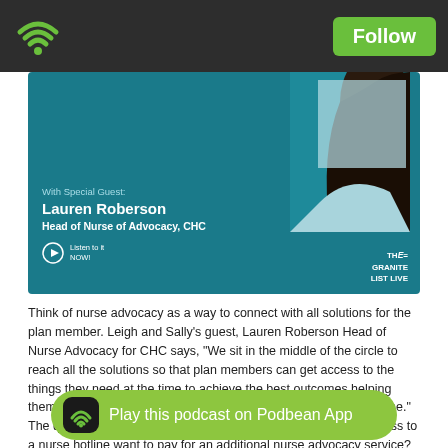[Figure (screenshot): Dark top navigation bar with green wifi/podcast icon on left and green Follow button on right]
[Figure (infographic): Podcast banner with teal background. Text reads 'With Special Guest: Lauren Roberson, Head of Nurse of Advocacy, CHC' with Listen to it Now play button and THE GRANITE LIST LIVE logo. Circular portrait of a woman on right.]
Think of nurse advocacy as a way to connect with all solutions for the plan member. Leigh and Sally's guest, Lauren Roberson Head of Nurse Advocacy for CHC says, "We sit in the middle of the circle to reach all the solutions so that plan members can get access to the things they need at the time to achieve the best outcomes helping them stay at work, feeling better, healthy, and feeling better at home." The question she answers is why would a company that has access to a nurse hotline want to pay for an additional nurse advocacy service? Learn how 30 minutes of true listening has saved lives in this episode of The Granite List Live, "Predication of Health Problems Through Nurse Advocacy".
About our guest:
After work and on the front lines of contracted nurse lines for some of the largest
[Figure (infographic): Green pill-shaped Podbean app play button overlay at the bottom of the screen with podcast wifi icon and text 'Play this podcast on Podbean App']